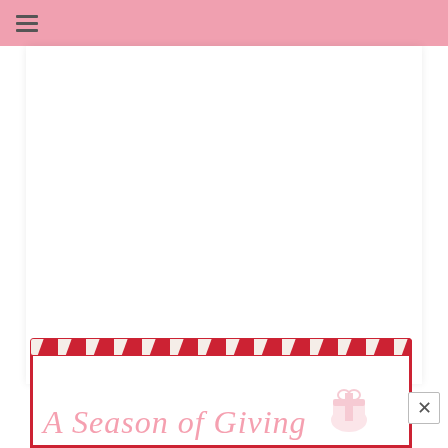≡ (hamburger menu icon)
[Figure (illustration): Large white content area below pink header bar, resembling a blog post or article area that is mostly blank/white]
[Figure (illustration): Popup card at the bottom with red and white candy-cane striped border on top, white body with red outline, and large cursive pink text reading 'A Season of Giving' with a small gift illustration on the right side. A close button (X) is visible in the lower right corner.]